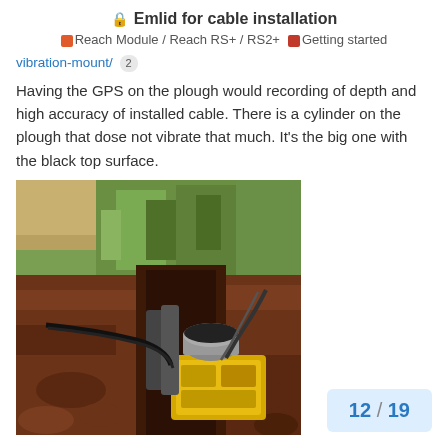Emlid for cable installation
Reach Module / Reach RS+ / RS2+   Getting started
vibration-mount/ 2
Having the GPS on the plough would recording of depth and high accuracy of installed cable. There is a cylinder on the plough that dose not vibrate that much. It’s the big one with the black top surface.
[Figure (photo): Photo of a cable-laying plough machine digging into dark red-brown soil, with green grass and a ploughed field in the background. A yellow machine component with hydraulic hoses is visible in the foreground trench.]
12 / 19